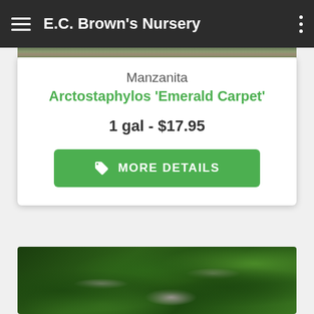E.C. Brown's Nursery
Manzanita
Arctostaphylos 'Emerald Carpet'
1 gal - $17.95
MORE DETAILS
[Figure (photo): Manzanita ground cover plant with small dark green leaves and small pink/white bell-shaped flowers]